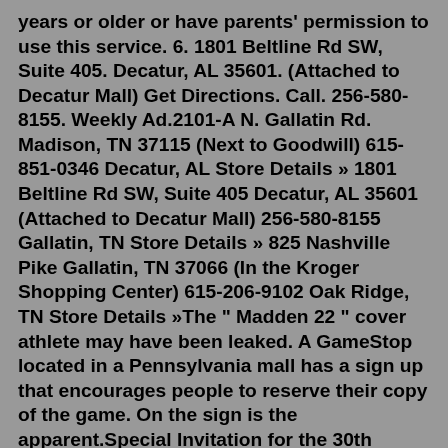years or older or have parents' permission to use this service. 6. 1801 Beltline Rd SW, Suite 405. Decatur, AL 35601. (Attached to Decatur Mall) Get Directions. Call. 256-580-8155. Weekly Ad.2101-A N. Gallatin Rd. Madison, TN 37115 (Next to Goodwill) 615-851-0346 Decatur, AL Store Details » 1801 Beltline Rd SW, Suite 405 Decatur, AL 35601 (Attached to Decatur Mall) 256-580-8155 Gallatin, TN Store Details » 825 Nashville Pike Gallatin, TN 37066 (In the Kroger Shopping Center) 615-206-9102 Oak Ridge, TN Store Details »The " Madden 22 " cover athlete may have been leaked. A GameStop located in a Pennsylvania mall has a sign up that encourages people to reserve their copy of the game. On the sign is the apparent.Special Invitation for the 30th Anniversary of Le Dîner en Blanc de Paris: June 3, 2018. Posted by Chantal Blanchard on February 05, 2018 | 0 comment Chers amis, On Sunday, June 3, 2018, in one of Paris' most prestigious locations, an immense Le Dîner en Blanc will bring together some 20,000 people, half of